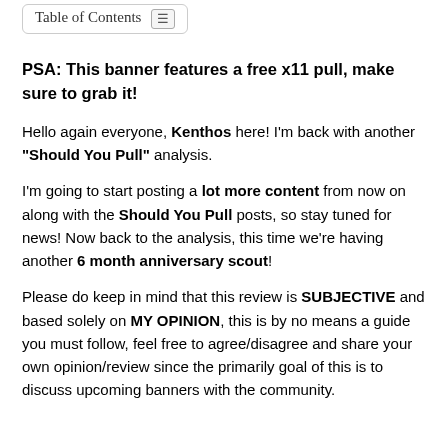Table of Contents
PSA: This banner features a free x11 pull, make sure to grab it!
Hello again everyone, Kenthos here! I'm back with another "Should You Pull" analysis.
I'm going to start posting a lot more content from now on along with the Should You Pull posts, so stay tuned for news! Now back to the analysis, this time we're having another 6 month anniversary scout!
Please do keep in mind that this review is SUBJECTIVE and based solely on MY OPINION, this is by no means a guide you must follow, feel free to agree/disagree and share your own opinion/review since the primarily goal of this is to discuss upcoming banners with the community.